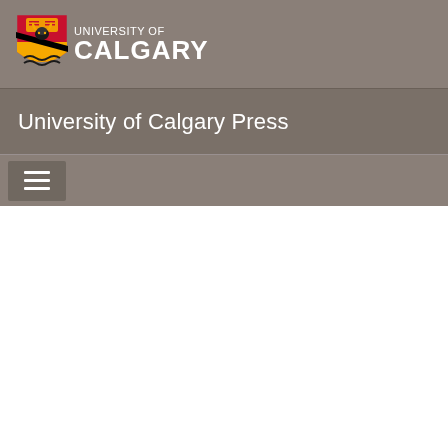[Figure (logo): University of Calgary shield logo with text 'UNIVERSITY OF CALGARY' in white on grey background]
University of Calgary Press
[Figure (other): Navigation hamburger menu button (three horizontal lines) on grey background]